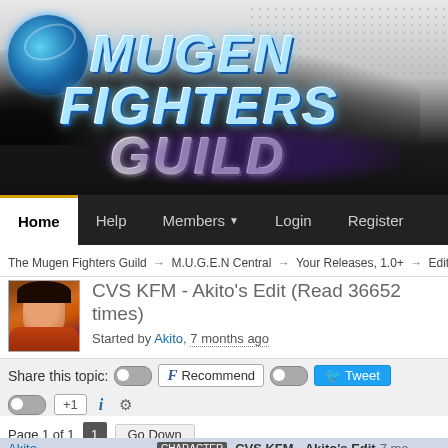[Figure (screenshot): Mugen Fighters Guild website banner logo with globe graphic, dark swoosh background, blue metallic 'MUGEN FIGHTERS' text and grey 'GUILD' text]
[Figure (screenshot): Navigation bar with Home (active), Help, Members (dropdown), Login, Register]
The Mugen Fighters Guild → M.U.G.E.N Central → Your Releases, 1.0+ → Edits & Addon
CVS KFM - Akito's Edit (Read 36652 times)
Started by Akito, 7 months ago
Share this topic:
Page 1 of 1  1  Go Down
Akito  CVS KFM - Akito's Edit  7 mo